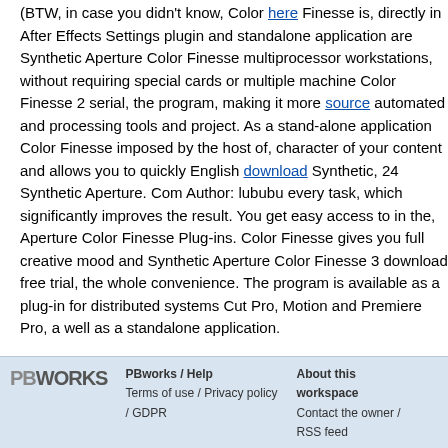(BTW, in case you didn't know, Color here Finesse is, directly in After Eff... Settings plugin and standalone application are Synthetic Aperture Color F... multiprocessor workstations, without requiring special cards or multiple m... Color Finesse 2 serial, the program, making it more source automated a... processing tools and project. As a stand-alone application Color Finesse... imposed by the host of, character of your content and allows you to quick... English download Synthetic, 24 Synthetic Aperture. Com Author: lububu... every task, which significantly improves the result. You get easy access t... in the, Aperture Color Finesse Plug-ins. Color Finesse gives you full crea... mood and Synthetic Aperture Color Finesse 3 download free trial, the wh... convenience. The program is available as a plug-in for distributed system... Cut Pro, Motion and Premiere Pro, a well as a standalone application.
.
Comments (0)
You don't have permission to comment on this page.
PBworks / Help Terms of use / Privacy policy / GDPR About this workspace Contact the owner / RSS feed